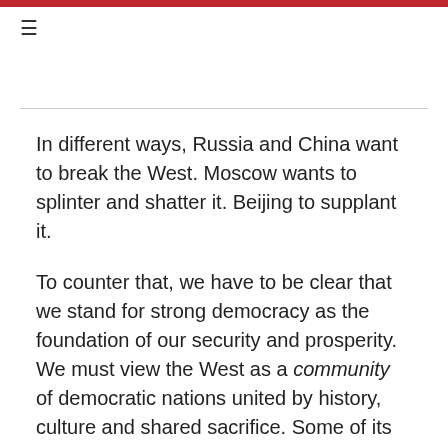≡
In different ways, Russia and China want to break the West. Moscow wants to splinter and shatter it. Beijing to supplant it.
To counter that, we have to be clear that we stand for strong democracy as the foundation of our security and prosperity. We must view the West as a community of democratic nations united by history, culture and shared sacrifice. Some of its members are old democracies, some are not. Some are members of the EU or NATO, some are not. Some are weak, some strong, some geographically insulated, some exposed. Ukraine and Georgia are part of the West, both by virtue of history and the choices of their people. Britain will still be very much at the heart of the